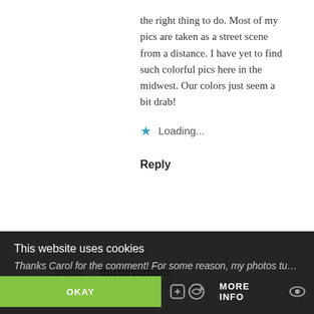the right thing to do. Most of my pics are taken as a street scene from a distance. I have yet to find such colorful pics here in the midwest. Our colors just seem a bit drab!
Loading...
Reply
thirdeyemom
January 13, 2015 at 5:01 pm
Thanks Carol for the comment! For some reason, my photos turned out way better than in dec
This website uses cookies
OKAY
MORE INFO